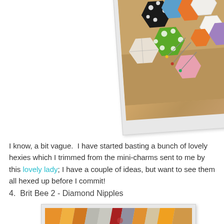[Figure (photo): Polaroid-style photo showing colorful fabric hexagons scattered on a wooden surface, including black with white polka dots, green polka dots, blue, orange, white, and patterned hexies]
I know, a bit vague.  I have started basting a bunch of lovely hexies which I trimmed from the mini-charms sent to me by this lovely lady; I have a couple of ideas, but want to see them all hexed up before I commit!
4.  Brit Bee 2 - Diamond Nipples
[Figure (photo): Polaroid-style photo showing a quilt strip with colorful diamond/triangle patterns in orange, yellow, grey, red, and patterned fabrics arranged in a row]